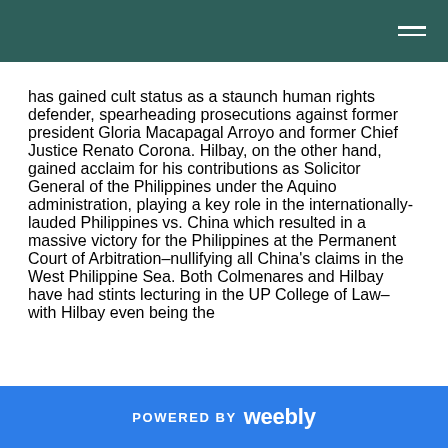has gained cult status as a staunch human rights defender, spearheading prosecutions against former president Gloria Macapagal Arroyo and former Chief Justice Renato Corona. Hilbay, on the other hand, gained acclaim for his contributions as Solicitor General of the Philippines under the Aquino administration, playing a key role in the internationally-lauded Philippines vs. China which resulted in a massive victory for the Philippines at the Permanent Court of Arbitration–nullifying all China’s claims in the West Philippine Sea. Both Colmenares and Hilbay have had stints lecturing in the UP College of Law– with Hilbay even being the
POWERED BY weebly